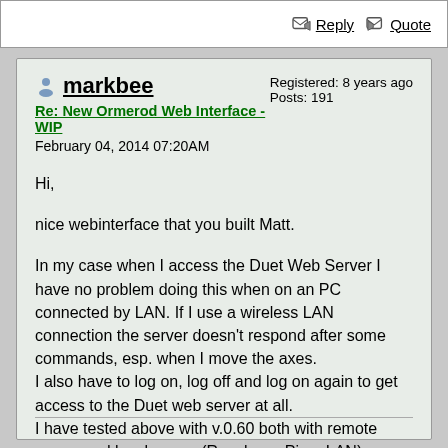Reply  Quote
markbee
Re: New Ormerod Web Interface - WIP
February 04, 2014 07:20AM
Registered: 8 years ago
Posts: 191
Hi,

nice webinterface that you built Matt.

In my case when I access the Duet Web Server I have no problem doing this when on an PC connected by LAN. If I use a wireless LAN connection the server doesn't respond after some commands, esp. when I move the axes.
I also have to log on, log off and log on again to get access to the Duet web server at all.
I have tested above with v.0.60 both with remote server and local server (Raspberry Pi on LAN).

Markus